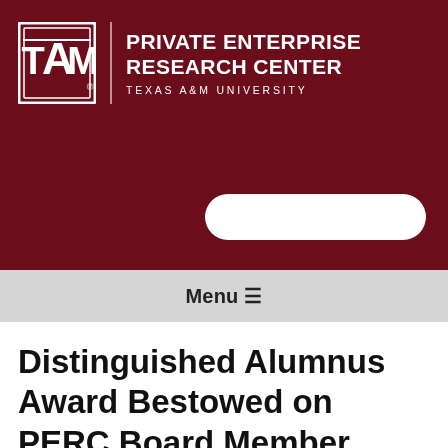[Figure (logo): Texas A&M University Private Enterprise Research Center logo with ATM block letter logo and text]
Menu ☰
Distinguished Alumnus Award Bestowed on PERC Board Member Willie T. Langston